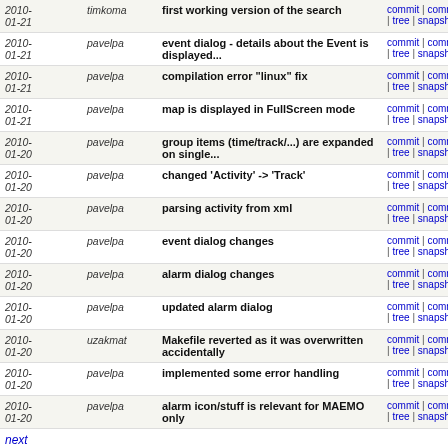| Date | Author | Message | Links |
| --- | --- | --- | --- |
| 2010-01-21 | timkoma | first working version of the search | commit | commitdiff | tree | snapshot |
| 2010-01-21 | pavelpa | event dialog - details about the Event is displayed... | commit | commitdiff | tree | snapshot |
| 2010-01-21 | pavelpa | compilation error "linux" fix | commit | commitdiff | tree | snapshot |
| 2010-01-21 | pavelpa | map is displayed in FullScreen mode | commit | commitdiff | tree | snapshot |
| 2010-01-20 | pavelpa | group items (time/track/...) are expanded on single... | commit | commitdiff | tree | snapshot |
| 2010-01-20 | pavelpa | changed 'Activity' -> 'Track' | commit | commitdiff | tree | snapshot |
| 2010-01-20 | pavelpa | parsing activity from xml | commit | commitdiff | tree | snapshot |
| 2010-01-20 | pavelpa | event dialog changes | commit | commitdiff | tree | snapshot |
| 2010-01-20 | pavelpa | alarm dialog changes | commit | commitdiff | tree | snapshot |
| 2010-01-20 | pavelpa | updated alarm dialog | commit | commitdiff | tree | snapshot |
| 2010-01-20 | uzakmat | Makefile reverted as it was overwritten accidentally | commit | commitdiff | tree | snapshot |
| 2010-01-20 | pavelpa | implemented some error handling | commit | commitdiff | tree | snapshot |
| 2010-01-20 | pavelpa | alarm icon/stuff is relevant for MAEMO only | commit | commitdiff | tree | snapshot |
next